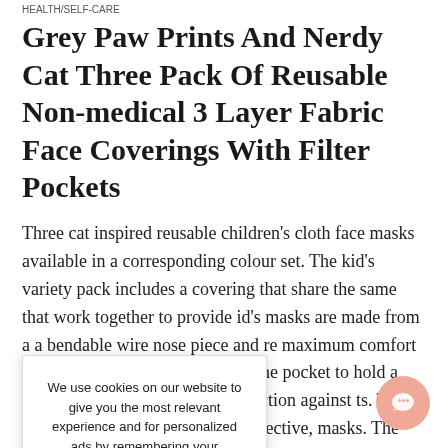HEALTH/SELF-CARE
Grey Paw Prints And Nerdy Cat Three Pack Of Reusable Non-medical 3 Layer Fabric Face Coverings With Filter Pockets
Three cat inspired reusable children’s cloth face masks available in a corresponding colour set. The kid’s variety pack includes a covering that share the same that work together to provide id’s masks are made from a a bendable wire nose piece and re maximum comfort and a and mouth. Inside each of the pocket to hold a single-use PM or improved protection against ts. The child-sized cloth friendly, cost-effective, masks. The cotton blend
We use cookies on our website to give you the most relevant experience and for personalized ads by remembering your preferences and repeat visits. By Clicking "Accept", you consent to the use of ALL the cookies.
YES, I ACCEPT
More Info